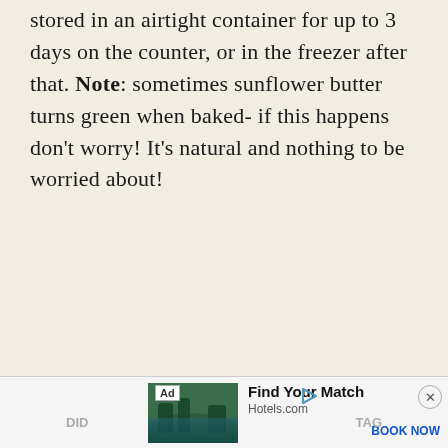stored in an airtight container for up to 3 days on the counter, or in the freezer after that. Note: sometimes sunflower butter turns green when baked- if this happens don't worry! It's natural and nothing to be worried about!
[Figure (logo): Instagram logo icon (rounded square with camera outline)]
[Figure (photo): Advertisement banner: Hotels.com ad showing a resort with tropical landscape. Text reads 'Find Your Match' and 'BOOK NOW'.]